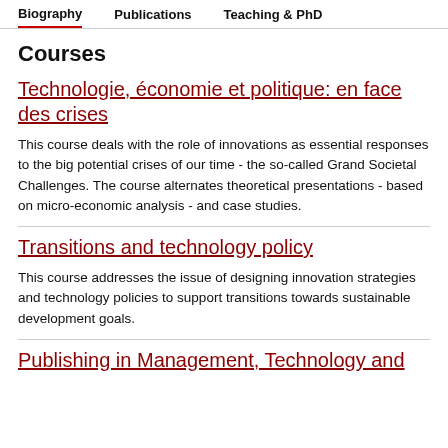Biography   Publications   Teaching & PhD
Courses
Technologie, économie et politique: en face des crises
This course deals with the role of innovations as essential responses to the big potential crises of our time - the so-called Grand Societal Challenges. The course alternates theoretical presentations - based on micro-economic analysis - and case studies.
Transitions and technology policy
This course addresses the issue of designing innovation strategies and technology policies to support transitions towards sustainable development goals.
Publishing in Management, Technology and